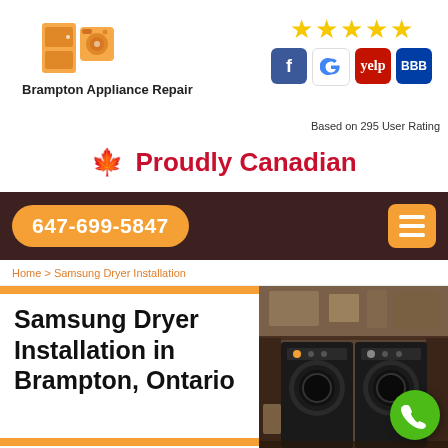[Figure (logo): Brampton Appliance Repair logo with appliance icon]
Brampton Appliance Repair
[Figure (infographic): 5 yellow stars rating with Facebook, Google, Yelp, and BBB social icons]
Based on 295 User Rating
🍁 Proudly Canadian
647-699-5847
Home > Samsung Dryer Installation
Samsung Dryer Installation in Brampton, Ontario
[Figure (photo): Photo of Samsung washer and dryer units in a laundry room]